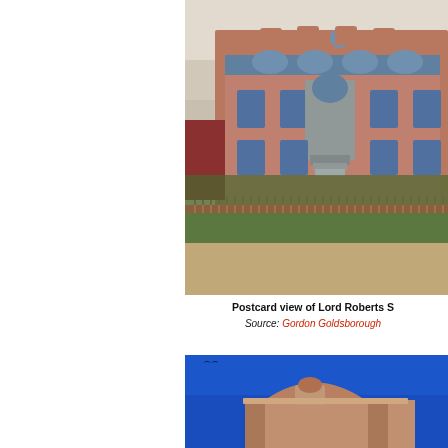[Figure (photo): Vintage colorized postcard photograph of Lord Roberts School — a red brick Romanesque Revival style building with arched windows, ornate facade, front entrance with stone steps, picket fence along the front, unpaved road in foreground, small red building visible to the left.]
Postcard view of Lord Roberts S Source: Gordon Goldsborough
[Figure (photo): Partial photograph of a building facade against a vivid blue sky, showing ornate stonework or terra cotta decorative gable/parapet detail at roofline level, pink/buff colored masonry, bird visible in upper left.]